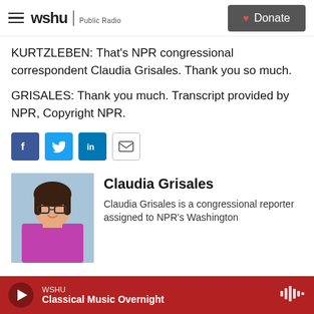wshu Public Radio | Donate
KURTZLEBEN: That's NPR congressional correspondent Claudia Grisales. Thank you so much.
GRISALES: Thank you much. Transcript provided by NPR, Copyright NPR.
[Figure (infographic): Row of social sharing buttons: Facebook (blue), Twitter (blue), LinkedIn (blue), Email (outlined)]
[Figure (photo): Headshot of Claudia Grisales, a woman with glasses and long dark hair wearing a magenta top, smiling, against a light blue background]
Claudia Grisales
Claudia Grisales is a congressional reporter assigned to NPR's Washington
WSHU Classical Music Overnight